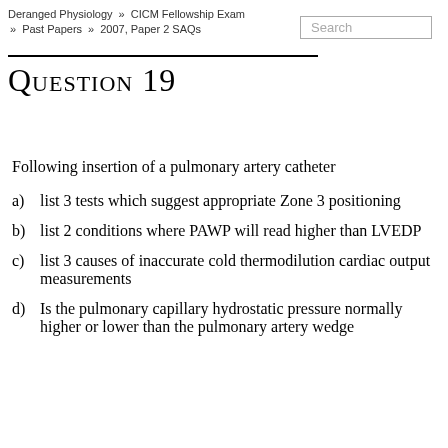Deranged Physiology » CICM Fellowship Exam » Past Papers » 2007, Paper 2 SAQs
Question 19
Following insertion of a pulmonary artery catheter
a)  list 3 tests which suggest appropriate Zone 3 positioning
b)  list 2 conditions where PAWP will read higher than LVEDP
c)  list 3 causes of inaccurate cold thermodilution cardiac output  measurements
d)  Is the pulmonary capillary hydrostatic pressure normally higher or lower than the pulmonary artery wedge